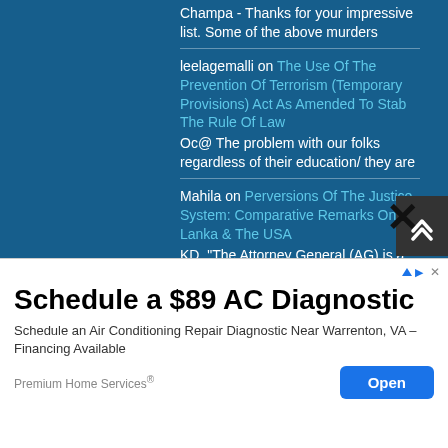Champa - Thanks for your impressive list. Some of the above murders
leelagemalli on The Use Of The Prevention Of Terrorism (Temporary Provisions) Act As Amended To Stab The Rule Of Law
Oc@ The problem with our folks regardless of their education/ they are
Mahila on Perversions Of The Justice System: Comparative Remarks On Sri Lanka & The USA
KD, "The Attorney General (AG) is a slave of political powers and
Svenson on Ranil Wickremesinghe's Democratic Credentials? A Test, A Challenge!
SM if Ranil is even moderately successful,
[Figure (screenshot): Advertisement overlay: 'Schedule a $89 AC Diagnostic' - Schedule an Air Conditioning Repair Diagnostic Near Warrenton, VA - Financing Available. Premium Home Services®. Open button.]